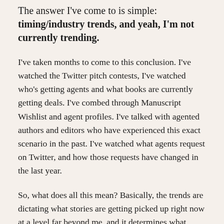The answer I've come to is simple: timing/industry trends, and yeah, I'm not currently trending.
I've taken months to come to this conclusion. I've watched the Twitter pitch contests, I've watched who's getting agents and what books are currently getting deals. I've combed through Manuscript Wishlist and agent profiles. I've talked with agented authors and editors who have experienced this exact scenario in the past. I've watched what agents request on Twitter, and how those requests have changed in the last year.
So, what does all this mean? Basically, the trends are dictating what stories are getting picked up right now at a level far beyond me, and it determines what agents are looking for. At the time I'm writing this, the current hotnesses are: paranormal/witches, contemporary/contemporary fantasy, and